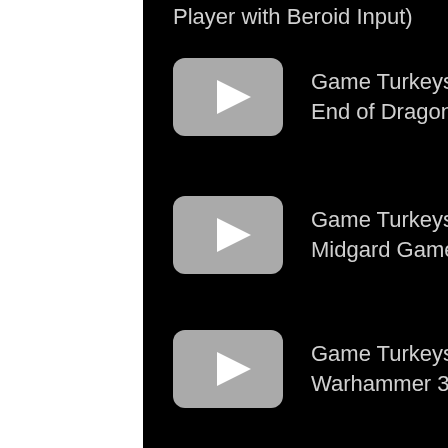Player with Beroid Input)
Game Turkeys: Guild Wars 2: End of Dragons Gameplay
Game Turkeys: Tribes of Midgard Gameplay
Game Turkeys: Total War: Warhammer 3 Gameplay
Game Turkeys: Mario El...